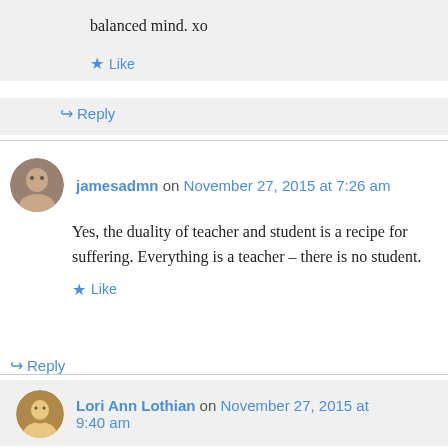balanced mind. xo
Like
Reply
jamesadmn on November 27, 2015 at 7:26 am
Yes, the duality of teacher and student is a recipe for suffering. Everything is a teacher – there is no student.
Like
Reply
Lori Ann Lothian on November 27, 2015 at 9:40 am